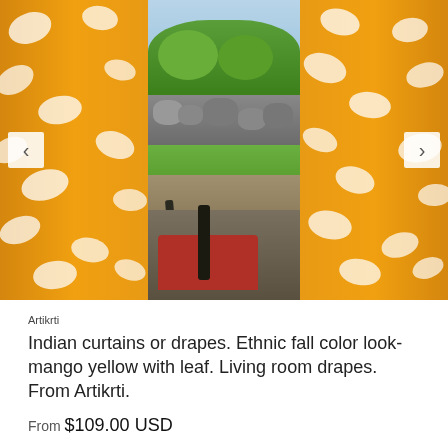[Figure (photo): Product photo of orange/mango yellow Indian curtains or drapes with white leaf pattern, hanging with a garden view visible through the center opening, and a red-cushioned black metal chair at the bottom. Navigation arrows on left and right sides.]
Artikrti
Indian curtains or drapes. Ethnic fall color look- mango yellow with leaf. Living room drapes. From Artikrti.
From $109.00 USD